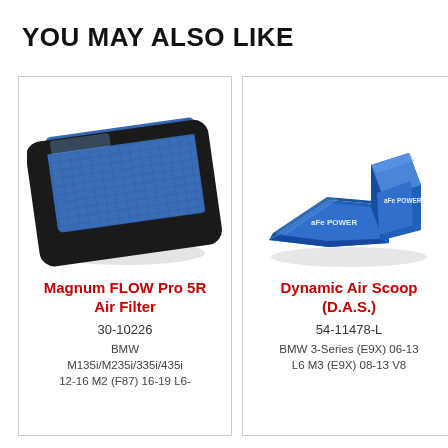YOU MAY ALSO LIKE
[Figure (photo): Blue aFe Magnum FLOW Pro 5R panel air filter with black rubber frame]
Magnum FLOW Pro 5R Air Filter
30-10226
BMW M135i/M235i/335i/435i 12-16 M2 (F87) 16-19 L6-
[Figure (photo): Two blue aFe Dynamic Air Scoop (D.A.S.) plastic components]
Dynamic Air Scoop (D.A.S.)
54-11478-L
BMW 3-Series (E9X) 06-13 L6 M3 (E9X) 08-13 V8